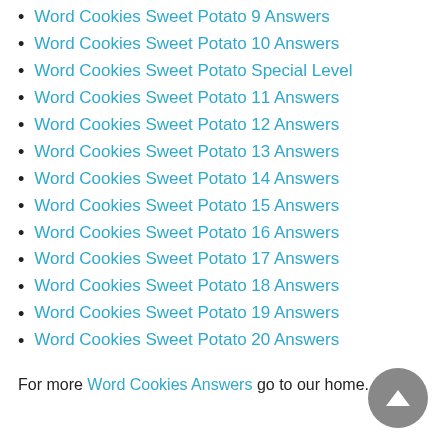Word Cookies Sweet Potato 9 Answers
Word Cookies Sweet Potato 10 Answers
Word Cookies Sweet Potato Special Level
Word Cookies Sweet Potato 11 Answers
Word Cookies Sweet Potato 12 Answers
Word Cookies Sweet Potato 13 Answers
Word Cookies Sweet Potato 14 Answers
Word Cookies Sweet Potato 15 Answers
Word Cookies Sweet Potato 16 Answers
Word Cookies Sweet Potato 17 Answers
Word Cookies Sweet Potato 18 Answers
Word Cookies Sweet Potato 19 Answers
Word Cookies Sweet Potato 20 Answers
For more Word Cookies Answers go to our home.